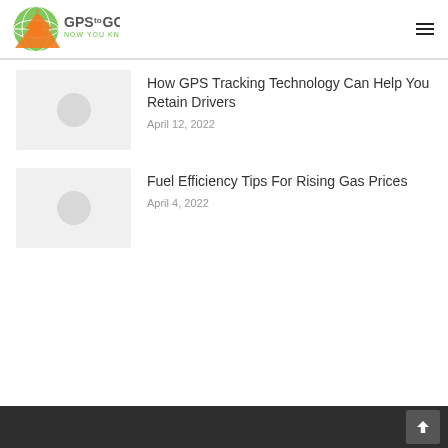GPS to GO — Now You Know
[Figure (illustration): Thumbnail placeholder with grey circle for article 1]
How GPS Tracking Technology Can Help You Retain Drivers
April 12, 2022
[Figure (illustration): Thumbnail placeholder with grey circle for article 2]
Fuel Efficiency Tips For Rising Gas Prices
April 4, 2022